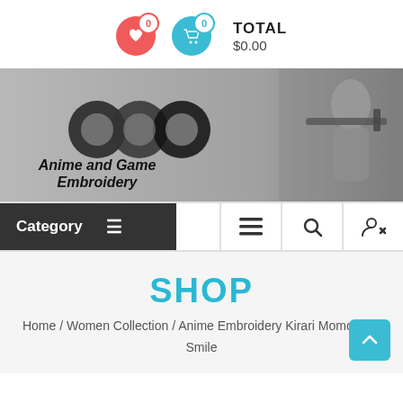[Figure (screenshot): Header with wishlist and cart icons showing 0 count each, and TOTAL $0.00]
[Figure (illustration): Anime and Game Embroidery banner with logo text and anime character holding weapon]
[Figure (screenshot): Navigation bar with Category menu, hamburger, search, and user icon buttons]
SHOP
Home / Women Collection / Anime Embroidery Kirari Momobami Smile